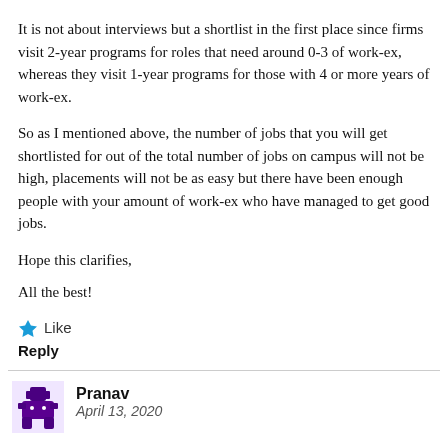It is not about interviews but a shortlist in the first place since firms visit 2-year programs for roles that need around 0-3 of work-ex, whereas they visit 1-year programs for those with 4 or more years of work-ex.
So as I mentioned above, the number of jobs that you will get shortlisted for out of the total number of jobs on campus will not be high, placements will not be as easy but there have been enough people with your amount of work-ex who have managed to get good jobs.
Hope this clarifies,
All the best!
Like
Reply
Pranav
April 13, 2020